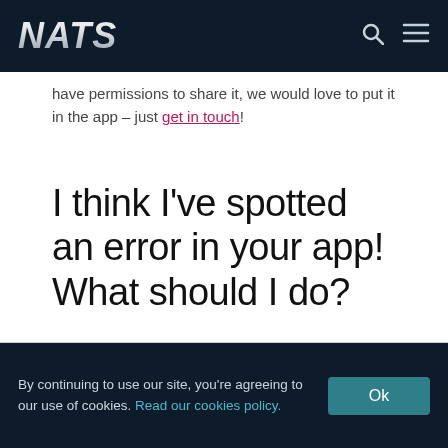NATS
have permissions to share it, we would love to put it in the app – just get in touch!
I think I've spotted an error in your app! What should I do?
By continuing to use our site, you're agreeing to our use of cookies. Read our cookies policy. Ok